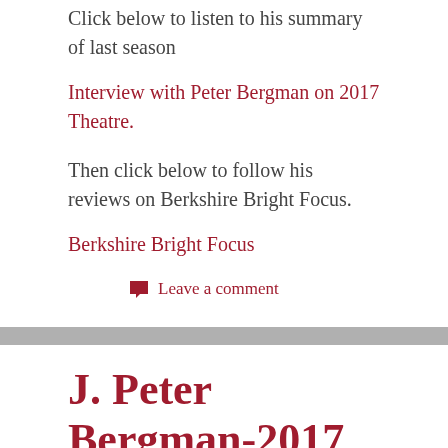Click below to listen to his summary of last season
Interview with Peter Bergman on 2017 Theatre.
Then click below to follow his reviews on Berkshire Bright Focus.
Berkshire Bright Focus
Leave a comment
J. Peter Bergman-2017 Theatre Season